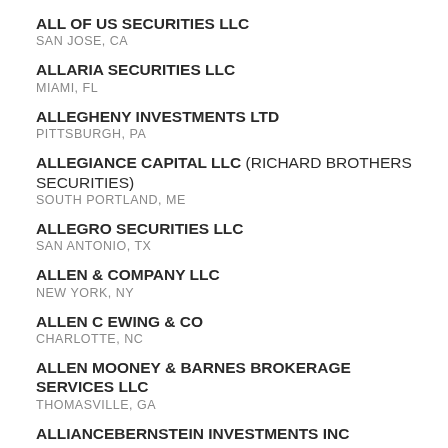ALL OF US SECURITIES LLC
SAN JOSE, CA
ALLARIA SECURITIES LLC
MIAMI, FL
ALLEGHENY INVESTMENTS LTD
PITTSBURGH, PA
ALLEGIANCE CAPITAL LLC (RICHARD BROTHERS SECURITIES)
SOUTH PORTLAND, ME
ALLEGRO SECURITIES LLC
SAN ANTONIO, TX
ALLEN & COMPANY LLC
NEW YORK, NY
ALLEN C EWING & CO
CHARLOTTE, NC
ALLEN MOONEY & BARNES BROKERAGE SERVICES LLC
THOMASVILLE, GA
ALLIANCEBERNSTEIN INVESTMENTS INC